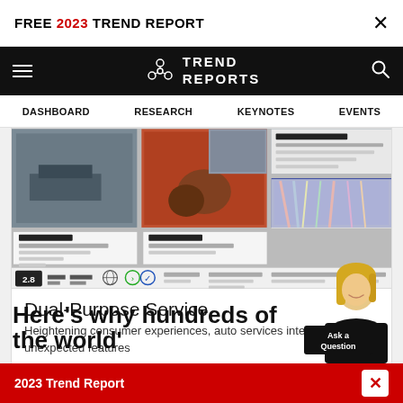FREE 2023 TREND REPORT
[Figure (screenshot): Trend Reports website navigation bar with logo, hamburger menu, and search icon on black background]
DASHBOARD  RESEARCH  KEYNOTES  EVENTS
[Figure (screenshot): Content grid showing car service related images with thumbnails in a 2x2 layout and metadata row at bottom]
Dual-Purpose Service
Heightening consumer experiences, auto services integrate unexpected features
Here's why hundreds of the world'
2023 Trend Report